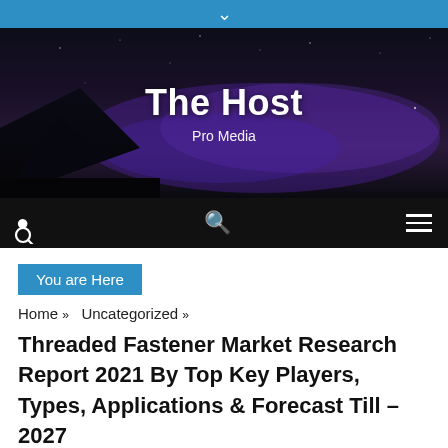▼
[Figure (photo): Dark night sky hero banner with mountains and purple clouds, showing website title 'The Host' and subtitle 'Pro Media']
The Host
Pro Media
You are Here
Home » Uncategorized »
Threaded Fastener Market Research Report 2021 By Top Key Players, Types, Applications & Forecast Till – 2027
Uncategorized